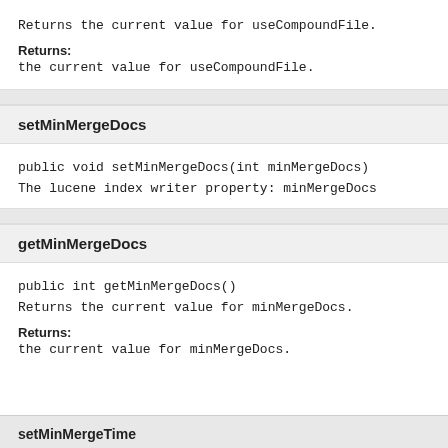Returns the current value for useCompoundFile.
Returns:
the current value for useCompoundFile.
setMinMergeDocs
public void setMinMergeDocs(int minMergeDocs)
The lucene index writer property: minMergeDocs
getMinMergeDocs
public int getMinMergeDocs()
Returns the current value for minMergeDocs.
Returns:
the current value for minMergeDocs.
setMinMergeTime